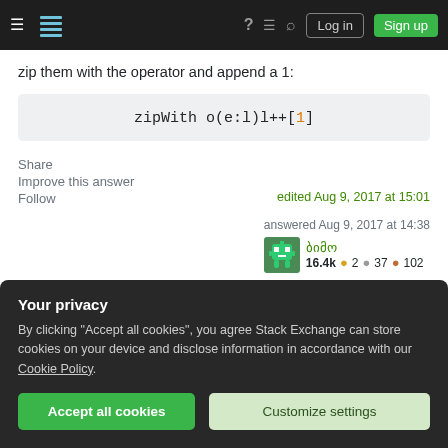Stack Exchange navigation bar with Log in and Sign up buttons
zip them with the operator and append a 1:
Share
Improve this answer
Follow
edited Aug 9, 2017 at 15:01
answered Aug 9, 2017 at 14:38
ბიმო
16.4k ● 2 ● 37 ● 102
Your privacy
By clicking "Accept all cookies", you agree Stack Exchange can store cookies on your device and disclose information in accordance with our Cookie Policy.
Accept all cookies   Customize settings